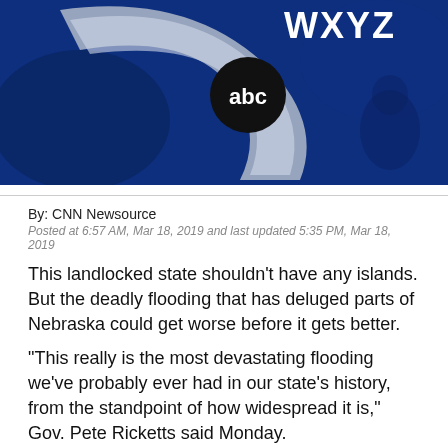[Figure (logo): WXYZ ABC television station logo on dark blue background]
By: CNN Newsource
Posted at 6:57 AM, Mar 18, 2019 and last updated 5:35 PM, Mar 18, 2019
This landlocked state shouldn't have any islands. But the deadly flooding that has deluged parts of Nebraska could get worse before it gets better.
"This really is the most devastating flooding we've probably ever had in our state's history, from the standpoint of how widespread it is," Gov. Pete Ricketts said Monday.